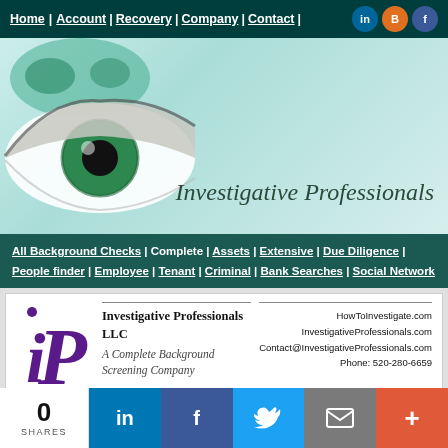Home | Account | Recovery | Company | Contact | [social icons]
[Figure (screenshot): Hero banner with eye graphic, world map, and text 'Investigative Professionals' on teal gradient background]
Investigative Professionals
All Background Checks | Complete | Assets | Extensive | Due Diligence | People finder | Employee | Tenant | Criminal | Bank Searches | Social Network
[Figure (logo): IP logo with stylized purple i and P letters]
Investigative Professionals LLC
A Complete Background Screening Company
HowToInvestigate.com
InvestigativeProfessionals.com
Contact@InvestigativeProfessionals.com
Phone: 520-280-6659
0 SHARES | LinkedIn | Facebook | Twitter | Mail | +